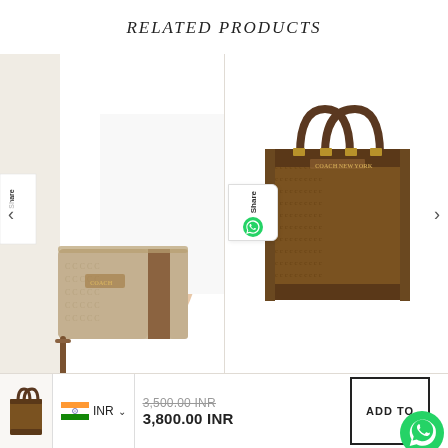RELATED PRODUCTS
[Figure (photo): Person holding a Coach signature canvas wristlet/clutch bag in tan/brown colorway with leather strap]
[Figure (photo): Coach signature canvas tote bag in brown with leather handles on white background]
3,500.00 INR (strikethrough original price)
3,800.00 INR (sale price)
INR (currency selector)
ADD TO (cart button, partially obscured by WhatsApp icon)